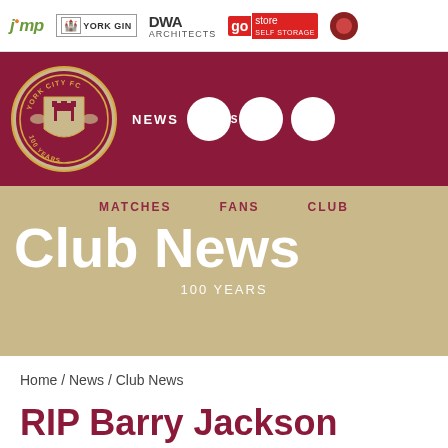jmp | YORK GIN | DWA ARCHITECTS | go store SELF STORAGE
[Figure (logo): York City FC 100 Years crest badge with navigation bar showing NEWS, TICKETS, TEAM links on maroon background]
MATCHES   FANS   CLUB
Club News
100 YEARS
Home / News / Club News
RIP Barry Jackson